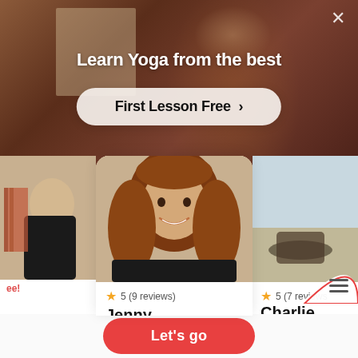[Figure (screenshot): Hero banner with yoga instructor photo background]
Learn Yoga from the best
First Lesson Free >
[Figure (photo): Left partial tutor card with person photo]
[Figure (photo): Center tutor card showing Jenny, a yoga instructor with long auburn hair smiling]
5 (9 reviews)
Jenny
£20/h  🏅1st lesson free!
ee!
[Figure (photo): Right partial tutor card showing Charlie outdoors]
5 (7 reviews)
Charlie
£
Let's go